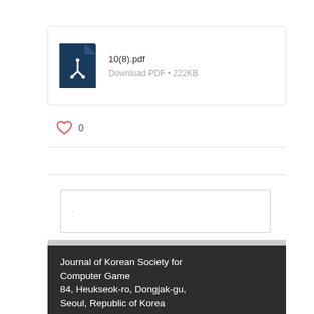[Figure (other): PDF file card showing file icon, filename 10(8).pdf, and download link with file size 222KB]
0
[Figure (other): Empty preview card with a small dot]
Journal of Korean Society for Computer Game
84, Heukseok-ro, Dongjak-gu,
Seoul, Republic of Korea